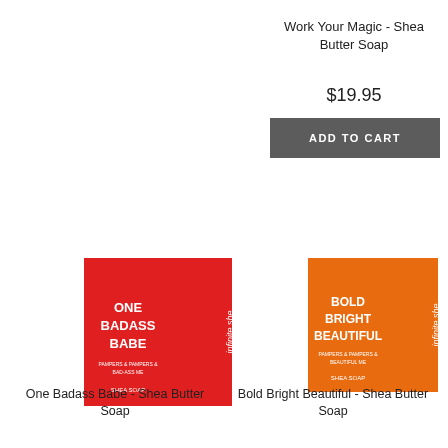Work Your Magic - Shea Butter Soap
$19.95
ADD TO CART
[Figure (photo): Red square soap package labeled 'One Badass Babe' with 'infinite she' branding]
[Figure (photo): Orange square soap package labeled 'Bold Bright Beautiful' with 'infinite she' branding]
One Badass Babe - Shea Butter Soap
Bold Bright Beautiful - Shea Butter Soap